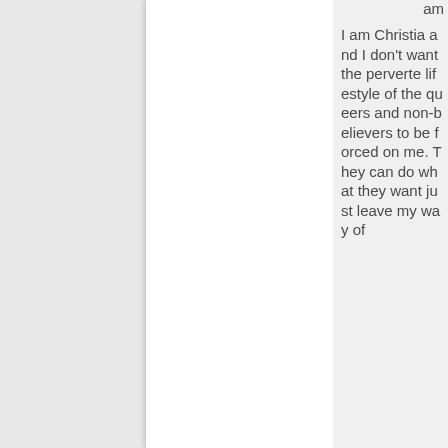am I am Christian and I don't want the perverted lifestyle of the queers and non-believers to be forced on me. They can do what they want just leave my way of